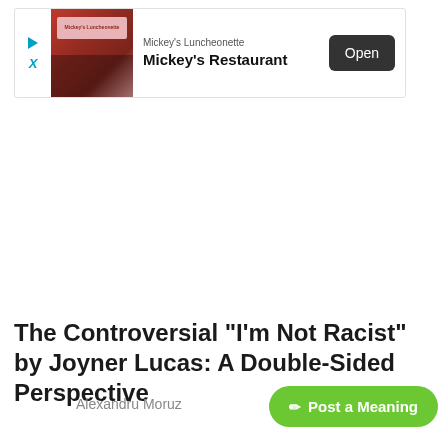[Figure (screenshot): Advertisement banner for Mickey's Luncheonette / Mickey's Restaurant with a photo of the restaurant storefront, play and X icons on the left, restaurant name text in the middle, and an 'Open' button on the right.]
The Controversial "I'm Not Racist" by Joyner Lucas: A Double-Sided Perspective
Alexandru Moruz